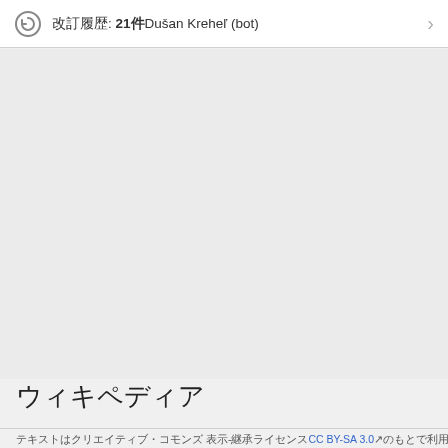改訂履歴: 21件 Dušan Kreheľ (bot)
ウィキペディア
テキストはクリエイティブ・コモンズ 表示-継承ライセンスCC BY-SA 3.0のもとで利用できます。